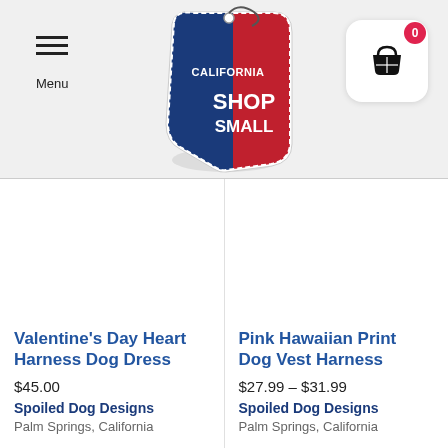[Figure (logo): California Shop Small logo — a price tag shaped like the state of California, blue and red, text reads CALIFORNIA SHOP SMALL]
[Figure (other): Shopping cart icon in a white rounded rectangle with a red badge showing 0]
[Figure (photo): Product image area for Valentine's Day Heart Harness Dog Dress (blank/white)]
Valentine's Day Heart Harness Dog Dress
$45.00
Spoiled Dog Designs
Palm Springs, California
[Figure (photo): Product image area for Pink Hawaiian Print Dog Vest Harness (blank/white)]
Pink Hawaiian Print Dog Vest Harness
$27.99 – $31.99
Spoiled Dog Designs
Palm Springs, California